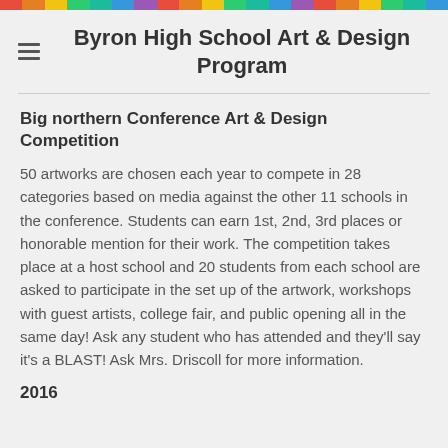Byron High School Art & Design Program
Big northern Conference Art & Design Competition
50 artworks are chosen each year to compete in 28 categories based on media against the other 11 schools in the conference.  Students can earn 1st, 2nd, 3rd places or honorable mention for their work.  The competition takes place at a host school and 20 students from each school are asked to participate in the set up of the artwork, workshops with guest artists, college fair, and public opening all in the same day!  Ask any student who has attended and they'll say it's a BLAST!  Ask Mrs. Driscoll for more information.
2016